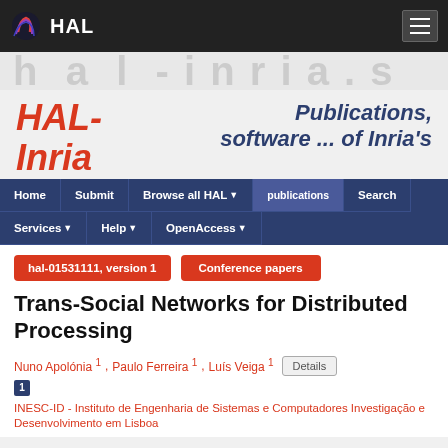HAL
[Figure (other): HAL logo with colorful wave icon and white HAL text on dark background navigation bar]
[Figure (other): Watermark banner strip showing large light gray text characters]
HAL-Inria   Publications, software ... of Inria's
Home | Submit | Browse all HAL | publications | Search | Services | Help | OpenAccess
hal-01531111, version 1   Conference papers
Trans-Social Networks for Distributed Processing
Nuno Apolónia 1 , Paulo Ferreira 1 , Luís Veiga 1  Details
1  INESC-ID - Instituto de Engenharia de Sistemas e Computadores Investigação e Desenvolvimento em Lisboa